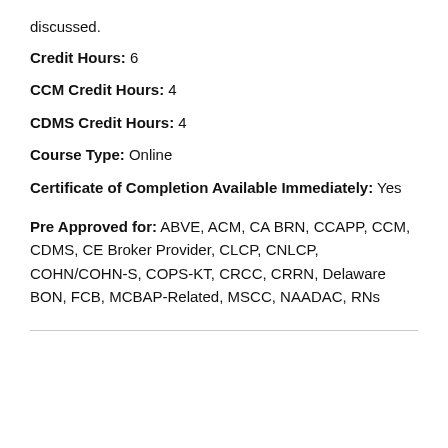discussed.
Credit Hours: 6
CCM Credit Hours: 4
CDMS Credit Hours: 4
Course Type: Online
Certificate of Completion Available Immediately: Yes
Pre Approved for: ABVE, ACM, CA BRN, CCAPP, CCM, CDMS, CE Broker Provider, CLCP, CNLCP, COHN/COHN-S, COPS-KT, CRCC, CRRN, Delaware BON, FCB, MCBAP-Related, MSCC, NAADAC, RNs